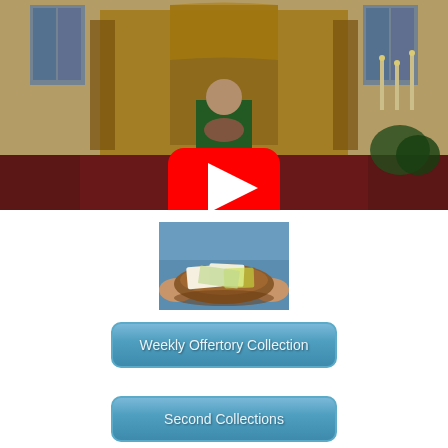[Figure (screenshot): Church interior video thumbnail showing a priest standing at the altar of an ornate Catholic church with red carpet, golden altar, stained glass windows, candles, and statues. A large red YouTube play button overlay is centered on the image.]
[Figure (photo): A person in a blue sweater holding a round wooden offertory plate containing envelopes and cash/money.]
Weekly Offertory Collection
Second Collections